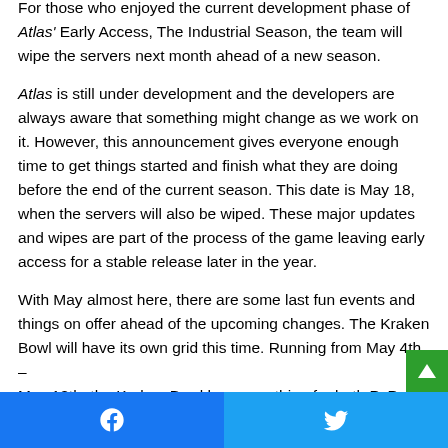For those who enjoyed the current development phase of Atlas' Early Access, The Industrial Season, the team will wipe the servers next month ahead of a new season.
Atlas is still under development and the developers are always aware that something might change as we work on it. However, this announcement gives everyone enough time to get things started and finish what they are doing before the end of the current season. This date is May 18, when the servers will also be wiped. These major updates and wipes are part of the process of the game leaving early access for a stable release later in the year.
With May almost here, there are some last fun events and things on offer ahead of the upcoming changes. The Kraken Bowl will have its own grid this time. Running from May 4th – May 18th, the Kraken Bowl has something for both PvPer and
Facebook  Twitter